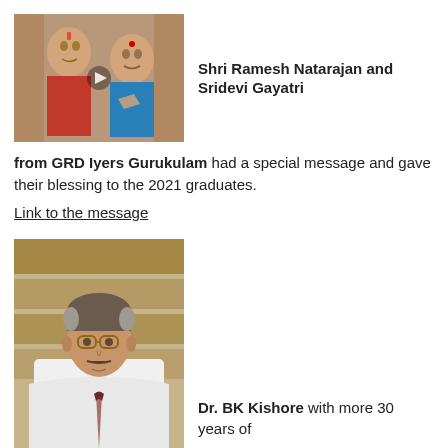[Figure (photo): Photo of Shri Ramesh Natarajan and Sridevi Gayatri, a man in red attire with tilak and a woman in blue attire with hands folded, against a decorative background.]
Shri Ramesh Natarajan and Sridevi Gayatri
from GRD Iyers Gurukulam had a special message and gave their blessing to the 2021 graduates.
Link to the message
[Figure (photo): Professional headshot photo of Dr. BK Kishore, a man wearing glasses and a white lab coat with a tie, with bookshelves in the background.]
Dr. BK Kishore with more 30 years of